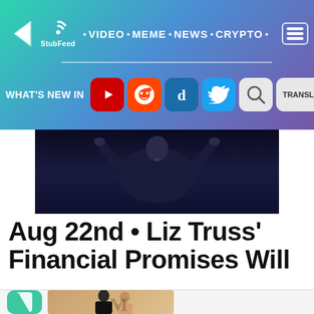StubFeed · VIDEO · MEME · NEWS · CRYPTO navigation bar with social icons: YouTube, Reddit, Digg, Twitter, Search, Google Translate
[Figure (screenshot): Person in dark clothing on dark stage background, gesturing with both hands raised]
Aug 22nd • Liz Truss' Financial Promises Will
[Figure (photo): Couple at formal event, man in suit with beard, woman beside him; green quote icon on left]